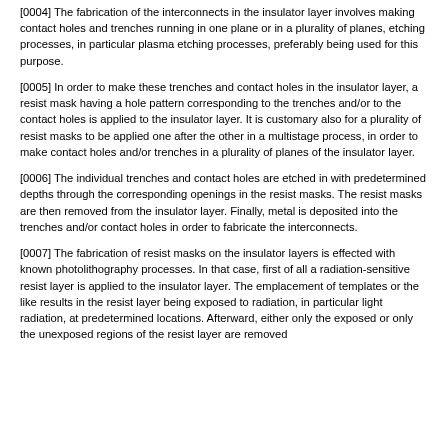[0004] The fabrication of the interconnects in the insulator layer involves making contact holes and trenches running in one plane or in a plurality of planes, etching processes, in particular plasma etching processes, preferably being used for this purpose.
[0005] In order to make these trenches and contact holes in the insulator layer, a resist mask having a hole pattern corresponding to the trenches and/or to the contact holes is applied to the insulator layer. It is customary also for a plurality of resist masks to be applied one after the other in a multistage process, in order to make contact holes and/or trenches in a plurality of planes of the insulator layer.
[0006] The individual trenches and contact holes are etched in with predetermined depths through the corresponding openings in the resist masks. The resist masks are then removed from the insulator layer. Finally, metal is deposited into the trenches and/or contact holes in order to fabricate the interconnects.
[0007] The fabrication of resist masks on the insulator layers is effected with known photolithography processes. In that case, first of all a radiation-sensitive resist layer is applied to the insulator layer. The emplacement of templates or the like results in the resist layer being exposed to radiation, in particular light radiation, at predetermined locations. Afterward, either only the exposed or only the unexposed regions of the resist layer are removed